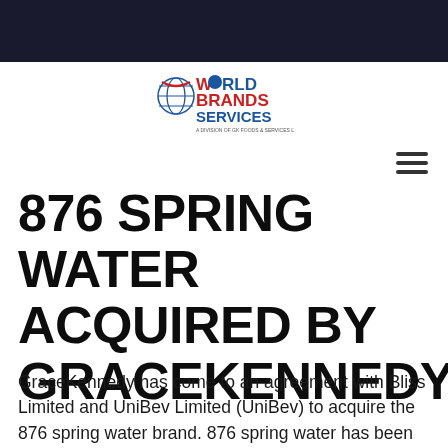[Figure (logo): World Brands Services logo - globe icon with red and blue colors, text 'WORLD BRANDS SERVICES - A DIVISION OF GK FOODS & SERVICES LTD.']
876 SPRING WATER ACQUIRED BY GRACEKENNEDY
GraceKennedy has come to an agreement with Bliss Limited and UniBev Limited (UniBev) to acquire the 876 spring water brand. 876 spring water has been distributed by World Brands Limited (WBS), a GraceKennedy subsidiary, since it